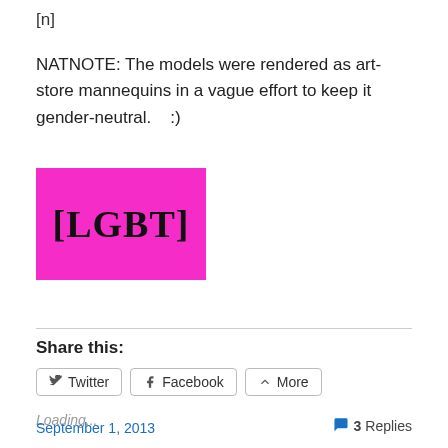[n]
NATNOTE: The models were rendered as art-store mannequins in a vague effort to keep it gender-neutral.    :)
[Figure (illustration): Pink/magenta square with black text reading [LGBT] in a bold handwritten/comic style font]
Share this:
Twitter
Facebook
More
Loading...
September 1, 2013    3 Replies